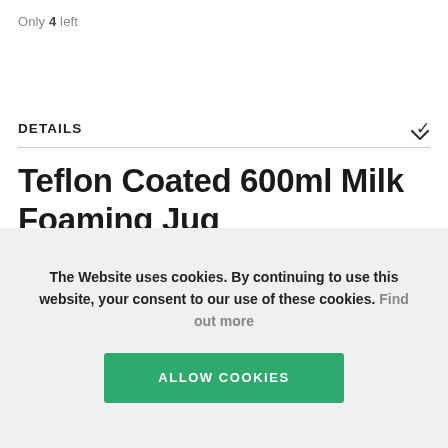Only 4 left
DETAILS
Teflon Coated 600ml Milk Foaming Jug
These superb stainless steel jugs have a teflon coating, meaning
The Website uses cookies. By continuing to use this website, your consent to our use of these cookies. Find out more
ALLOW COOKIES